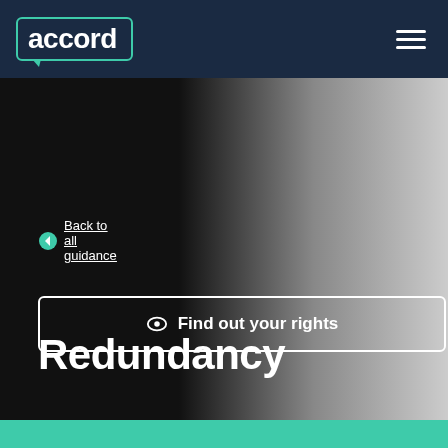accord
Back to all guidance
Redundancy
A guide to redundancy, your rights, and the support you can get through your union membership.
Find out your rights